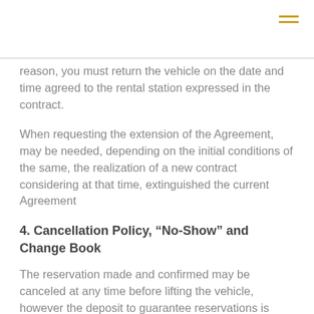[Figure (other): Hamburger menu icon with two yellow horizontal lines]
reason, you must return the vehicle on the date and time agreed to the rental station expressed in the contract.
When requesting the extension of the Agreement, may be needed, depending on the initial conditions of the same, the realization of a new contract considering at that time, extinguished the current Agreement
4. Cancellation Policy, “No-Show” and Change Book
The reservation made and confirmed may be canceled at any time before lifting the vehicle, however the deposit to guarantee reservations is non-refundable, the same applies in cases of